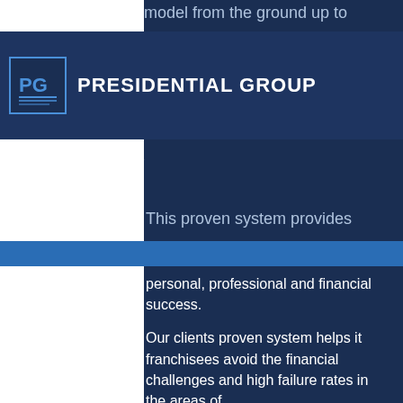PRESIDENTIAL GROUP
model from the ground up to
s to growth while providing the systems and support required to achieve
Executive Search
This proven system provides
personal, professional and financial success.
Our clients proven system helps it franchisees avoid the financial challenges and high failure rates in the areas of.
Over leveraged working capital
Poor back office systems & financial discipline
Inadequate marketing and sales strategies
Hard-bid process against fixed price contracts
Lack of skilled labor